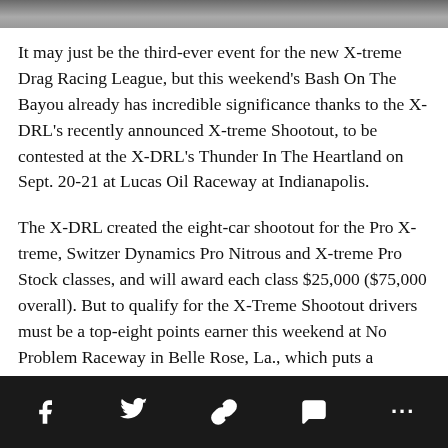[Figure (photo): Partial photo strip at top of page, showing blurred grey/dark background image.]
It may just be the third-ever event for the new X-treme Drag Racing League, but this weekend's Bash On The Bayou already has incredible significance thanks to the X-DRL's recently announced X-treme Shootout, to be contested at the X-DRL's Thunder In The Heartland on Sept. 20-21 at Lucas Oil Raceway at Indianapolis.
The X-DRL created the eight-car shootout for the Pro X-treme, Switzer Dynamics Pro Nitrous and X-treme Pro Stock classes, and will award each class $25,000 ($75,000 overall). But to qualify for the X-Treme Shootout drivers must be a top-eight points earner this weekend at No Problem Raceway in Belle Rose, La., which puts a spotlight on the X-DRL's first visit to the track.
Social share bar with icons: Facebook, Twitter, Link, Comment, More (...)